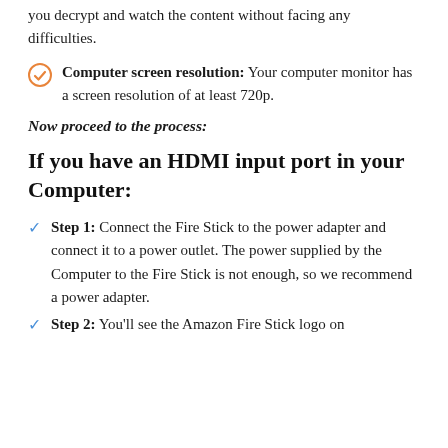you decrypt and watch the content without facing any difficulties.
Computer screen resolution: Your computer monitor has a screen resolution of at least 720p.
Now proceed to the process:
If you have an HDMI input port in your Computer:
Step 1: Connect the Fire Stick to the power adapter and connect it to a power outlet. The power supplied by the Computer to the Fire Stick is not enough, so we recommend a power adapter.
Step 2: You'll see the Amazon Fire Stick logo on